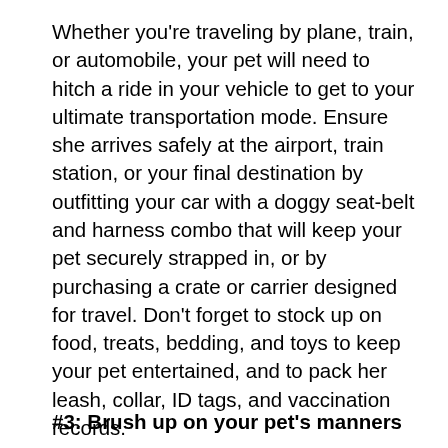Whether you're traveling by plane, train, or automobile, your pet will need to hitch a ride in your vehicle to get to your ultimate transportation mode. Ensure she arrives safely at the airport, train station, or your final destination by outfitting your car with a doggy seat-belt and harness combo that will keep your pet securely strapped in, or by purchasing a crate or carrier designed for travel. Don't forget to stock up on food, treats, bedding, and toys to keep your pet entertained, and to pack her leash, collar, ID tags, and vaccination records.
#3: Brush up on your pet's manners